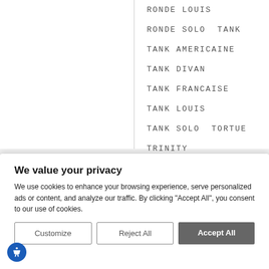RONDE LOUIS
RONDE SOLO TANK
TANK AMERICAINE
TANK DIVAN
TANK FRANCAISE
TANK LOUIS
TANK SOLO TORTUE
TRINITY
We value your privacy
We use cookies to enhance your browsing experience, serve personalized ads or content, and analyze our traffic. By clicking "Accept All", you consent to our use of cookies.
Customize | Reject All | Accept All